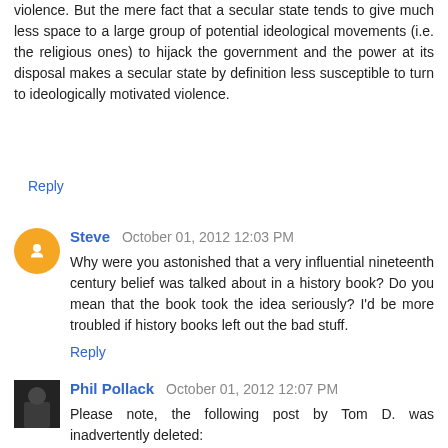violence. But the mere fact that a secular state tends to give much less space to a large group of potential ideological movements (i.e. the religious ones) to hijack the government and the power at its disposal makes a secular state by definition less susceptible to turn to ideologically motivated violence.
Reply
Steve  October 01, 2012 12:03 PM
Why were you astonished that a very influential nineteenth century belief was talked about in a history book? Do you mean that the book took the idea seriously? I'd be more troubled if history books left out the bad stuff.
Reply
Phil Pollack  October 01, 2012 12:07 PM
Please note, the following post by Tom D. was inadvertently deleted: